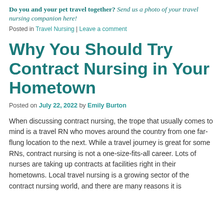Do you and your pet travel together? Send us a photo of your travel nursing companion here!
Posted in Travel Nursing | Leave a comment
Why You Should Try Contract Nursing in Your Hometown
Posted on July 22, 2022 by Emily Burton
When discussing contract nursing, the trope that usually comes to mind is a travel RN who moves around the country from one far-flung location to the next. While a travel journey is great for some RNs, contract nursing is not a one-size-fits-all career. Lots of nurses are taking up contracts at facilities right in their hometowns. Local travel nursing is a growing sector of the contract nursing world, and there are many reasons it is